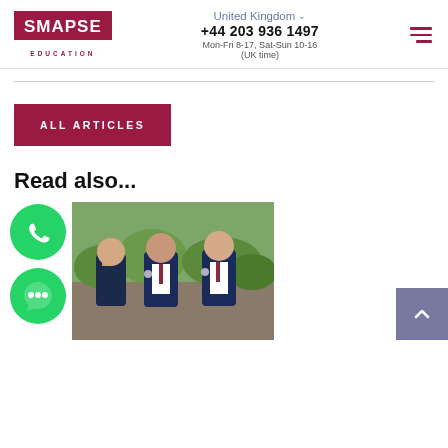[Figure (logo): SMAPSE EDUCATION logo in dark red/maroon on white background]
United Kingdom ▾
+44 203 936 1497
Mon-Fri 8-17, Sat-Sun 10-16 (UK time)
[Figure (other): Hamburger menu icon (three dark red lines)]
ALL ARTICLES
Read also...
[Figure (other): WhatsApp icon - green circle with phone handset]
[Figure (other): Chat/message icon - green circle with speech bubble]
[Figure (photo): Three school children in navy blue blazer uniforms walking outdoors, two girls and one boy]
[Figure (other): Scroll to top button - grey/purple square with upward caret]